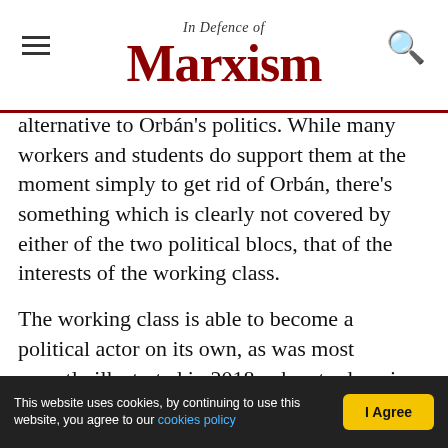In Defence of Marxism
alternative to Orbán's politics. While many workers and students do support them at the moment simply to get rid of Orbán, there's something which is clearly not covered by either of the two political blocs, that of the interests of the working class.
The working class is able to become a political actor on its own, as was most recently illustrated in 2018, when trade unions led tens of thousands of workers to protest the slave law, which raised the yearly cap on overtime to 400 hours from 250 (an additional working day a week), and gave companies three years to pay for the work.
This website uses cookies, by continuing to use this website, you agree to our cookies policy | I Agree